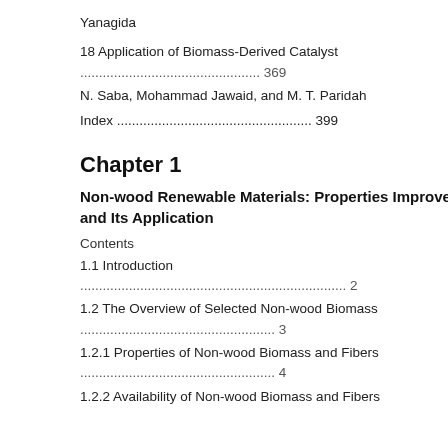Yanagida
18 Application of Biomass-Derived Catalyst
................................................ 369
N. Saba, Mohammad Jawaid, and M. T. Paridah
Index .................................................... 399
Chapter 1
Non-wood Renewable Materials: Properties Improvement and Its Application
Contents
1.1 Introduction
....................................................................... 2
1.2 The Overview of Selected Non-wood Biomass
.................................................... 3
1.2.1 Properties of Non-wood Biomass and Fibers
.................................................... 4
1.2.2 Availability of Non-wood Biomass and Fibers